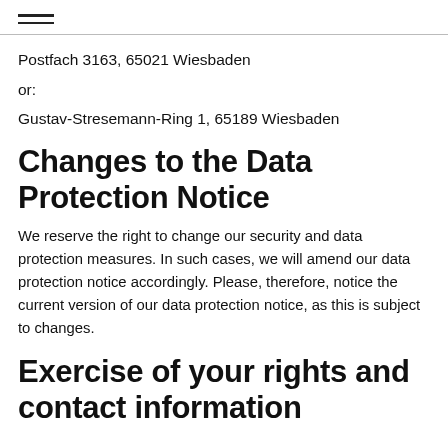Postfach 3163, 65021 Wiesbaden
or:
Gustav-Stresemann-Ring 1, 65189 Wiesbaden
Changes to the Data Protection Notice
We reserve the right to change our security and data protection measures. In such cases, we will amend our data protection notice accordingly. Please, therefore, notice the current version of our data protection notice, as this is subject to changes.
Exercise of your rights and contact information